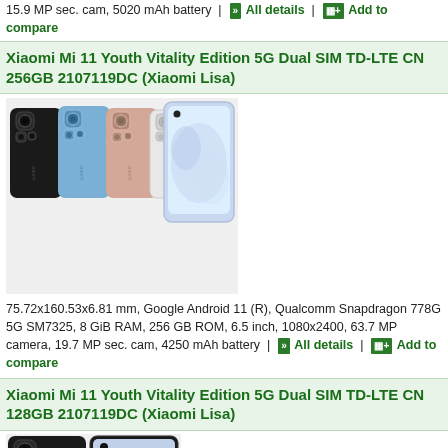15.9 MP sec. cam, 5020 mAh battery | All details | Add to compare
Xiaomi Mi 11 Youth Vitality Edition 5G Dual SIM TD-LTE CN 256GB 2107119DC (Xiaomi Lisa)
[Figure (photo): Product photo of Xiaomi Mi 11 Youth Vitality Edition in multiple colors (black, blue, rose gold, white) showing back and front views]
75.72x160.53x6.81 mm, Google Android 11 (R), Qualcomm Snapdragon 778G 5G SM7325, 8 GiB RAM, 256 GB ROM, 6.5 inch, 1080x2400, 63.7 MP camera, 19.7 MP sec. cam, 4250 mAh battery | All details | Add to compare
Xiaomi Mi 11 Youth Vitality Edition 5G Dual SIM TD-LTE CN 128GB 2107119DC (Xiaomi Lisa)
[Figure (photo): Partial product photo of Xiaomi Mi 11 Youth Vitality Edition showing camera module and front screen]